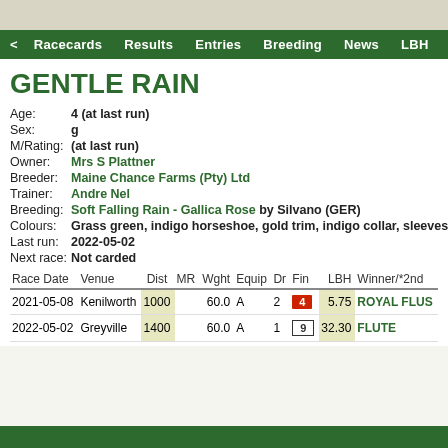< Racecards  Results  Entries  Breeding  News  LBH
GENTLE RAIN
| Age: | 4 (at last run) |
| Sex: | g |
| M/Rating: | (at last run) |
| Owner: | Mrs S Plattner |
| Breeder: | Maine Chance Farms (Pty) Ltd |
| Trainer: | Andre Nel |
| Breeding: | Soft Falling Rain - Gallica Rose by Silvano (GER) |
| Colours: | Grass green, indigo horseshoe, gold trim, indigo collar, sleeves a |
| Last run: | 2022-05-02 |
| Next race: | Not carded |
| Race Date | Venue | Dist | MR | Wght | Equip | Dr | Fin | LBH | Winner/*2nd |
| --- | --- | --- | --- | --- | --- | --- | --- | --- | --- |
| 2021-05-08 | Kenilworth | 1000 |  | 60.0 | A | 2 | 4 | 5.75 | ROYAL FLUS |
| 2022-05-02 | Greyville | 1400 |  | 60.0 | A | 1 | 9 | 32.30 | FLUTE |